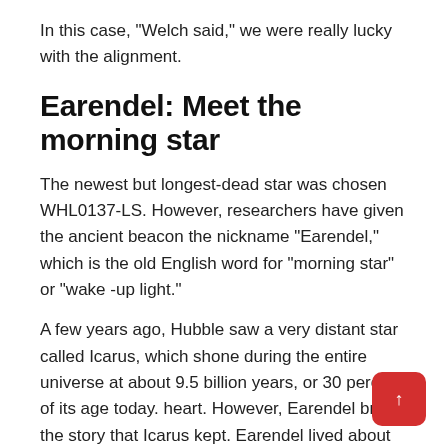In this case, "Welch said," we were really lucky with the alignment.
Earendel: Meet the morning star
The newest but longest-dead star was chosen WHL0137-LS. However, researchers have given the ancient beacon the nickname "Earendel," which is the old English word for "morning star" or "wake -up light."
A few years ago, Hubble saw a very distant star called Icarus, which shone during the entire universe at about 9.5 billion years, or 30 percent of its age today. heart. However, Earendel broke the story that Icarus kept. Earendel lived about 12.9 billion years ago, when only 6 percent of the earth's age today.